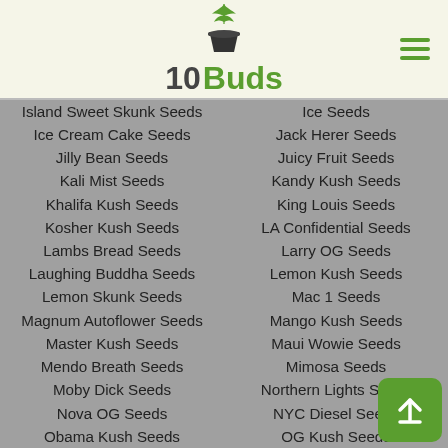[Figure (logo): 10Buds logo with cannabis leaf above a pot icon, green and dark text]
Island Sweet Skunk Seeds
Ice Seeds
Ice Cream Cake Seeds
Jack Herer Seeds
Jilly Bean Seeds
Juicy Fruit Seeds
Kali Mist Seeds
Kandy Kush Seeds
Khalifa Kush Seeds
King Louis Seeds
Kosher Kush Seeds
LA Confidential Seeds
Lambs Bread Seeds
Larry OG Seeds
Laughing Buddha Seeds
Lemon Kush Seeds
Lemon Skunk Seeds
Mac 1 Seeds
Magnum Autoflower Seeds
Mango Kush Seeds
Master Kush Seeds
Maui Wowie Seeds
Mendo Breath Seeds
Mimosa Seeds
Moby Dick Seeds
Northern Lights Seeds
Nova OG Seeds
NYC Diesel Seeds
Obama Kush Seeds
OG Kush Seeds